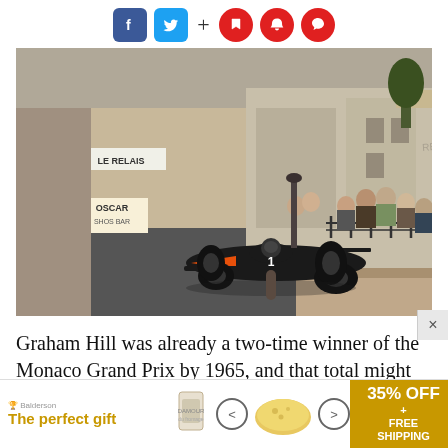Social share icons: Facebook, Twitter, plus, bookmark, bell, comment
[Figure (photo): A black Formula 1 racing car with orange nose driving through the streets of Monaco during a Grand Prix race, with spectators watching from behind barriers and buildings including signs for 'Le Relais' and 'Oscar' visible in the background.]
Graham Hill was already a two-time winner of the Monaco Grand Prix by 1965, and that total might even have been three had his BRM V8 engine not failed
[Figure (other): Advertisement banner: 'The perfect gift' with product images and '35% OFF + FREE SHIPPING' offer]